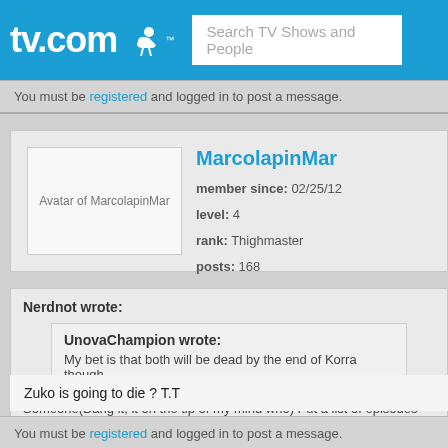tv.com — Search TV Shows and People
You must be registered and logged in to post a message.
MarcolapinMar — member since: 02/25/12 — level: 4 — rank: Thighmaster — posts: 168
Nerdnot wrote: UnovaChampion wrote: My bet is that both will be dead by the end of Korra though. Someone(Dang it, it on the tip of my mind who) Put a list of episodes for seas... Katara is still a mystery.
Zuko is going to die ? T.T
You must be registered and logged in to post a message.